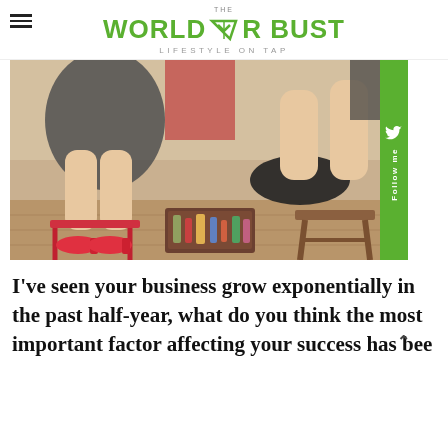THE WORLD OR BUST — LIFESTYLE ON TAP
[Figure (photo): Photo of two people seated, one appearing to apply nail polish or shoe care to the other's shoe. Red high heels visible on the floor along with a box of beauty/nail supplies. Wooden furniture and hardwood floor in background.]
I've seen your business grow exponentially in the past half-year, what do you think the most important factor affecting your success has bee